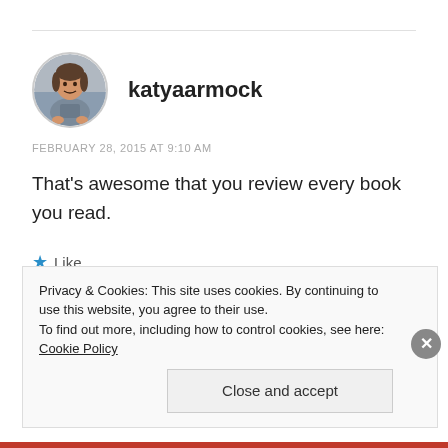katyaarmock
FEBRUARY 28, 2015 AT 9:10 AM
That's awesome that you review every book you read.
★ Like
Privacy & Cookies: This site uses cookies. By continuing to use this website, you agree to their use.
To find out more, including how to control cookies, see here: Cookie Policy
Close and accept